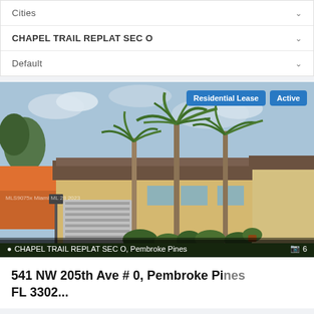Cities
CHAPEL TRAIL REPLAT SEC O
Default
[Figure (photo): Exterior photo of a single-family home with palm trees, yellow stucco exterior, tile roof, two-car garage, and green lawn. Badges show 'Residential Lease' and 'Active'. Location overlay reads 'CHAPEL TRAIL REPLAT SEC O, Pembroke Pines' with camera icon and '6'.]
541 NW 205th Ave # 0, Pembroke Pines FL 3302...